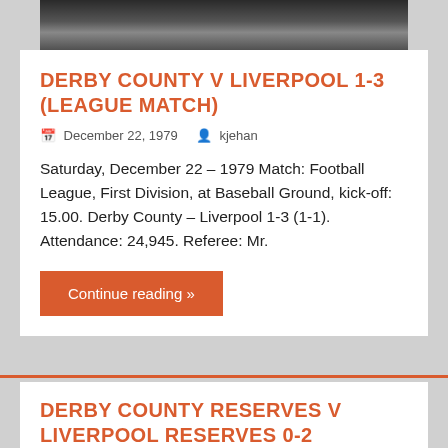[Figure (photo): Partial photo of a person, cropped, dark background]
DERBY COUNTY V LIVERPOOL 1-3 (LEAGUE MATCH)
December 22, 1979   kjehan
Saturday, December 22 – 1979 Match: Football League, First Division, at Baseball Ground, kick-off: 15.00. Derby County – Liverpool 1-3 (1-1). Attendance: 24,945. Referee: Mr.
Continue reading »
DERBY COUNTY RESERVES V LIVERPOOL RESERVES 0-2 (LEAGUE MATCH: APRIL 19,